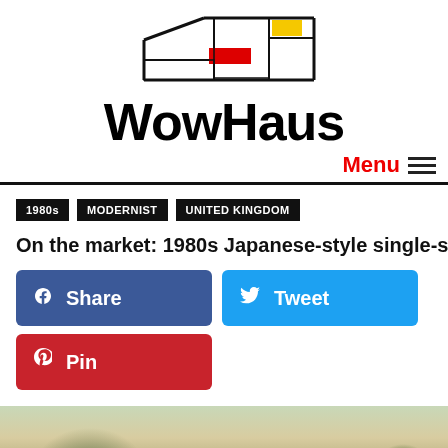[Figure (logo): WowHaus website logo with geometric modernist house graphic and bold WowHaus text]
Menu
1980s
MODERNIST
UNITED KINGDOM
On the market: 1980s Japanese-style single-storey property in Cam...
[Figure (screenshot): Facebook Share button (blue), Twitter Tweet button (cyan blue), Pinterest Pin button (red)]
[Figure (photo): Partial view of a property surrounded by garden foliage and greenery]